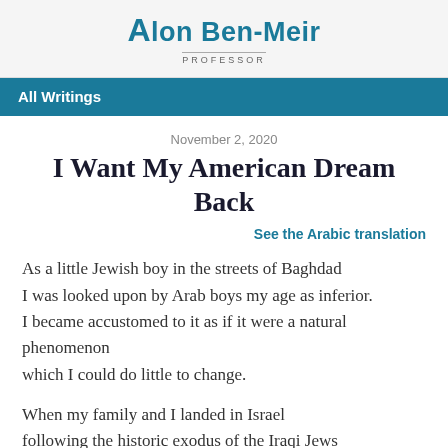Alon Ben-Meir PROFESSOR
All Writings
November 2, 2020
I Want My American Dream Back
See the Arabic translation
As a little Jewish boy in the streets of Baghdad I was looked upon by Arab boys my age as inferior. I became accustomed to it as if it were a natural phenomenon which I could do little to change.
When my family and I landed in Israel following the historic exodus of the Iraqi Jews I did not understand why we were uprooted to go to a